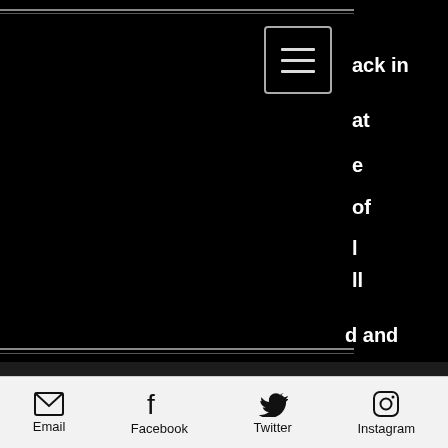[Figure (screenshot): Mobile web page screenshot with black background, hamburger menu button in top right area, and partially visible white text on right edge reading: ack in, at, e, of, l, ll, d and, elling, given]
acknowledgments in the forward of the book state that “This book, the
Email  Facebook  Twitter  Instagram